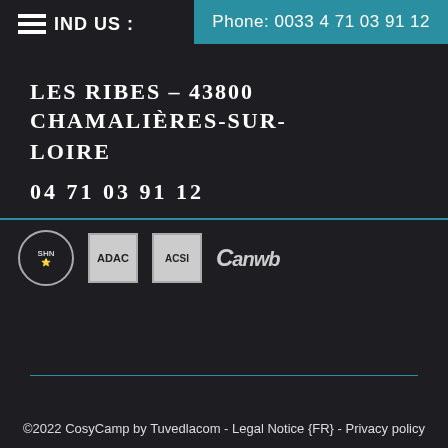FIND US :
Phone: 0033 4 71 03 91 12
LES RIBES – 43800 CHAMALIÈRES-SUR-LOIRE
04 71 03 91 12
[Figure (logo): Four logos: SHN circular badge, ADAC rectangle, ACSI rectangle, ANWB with stylized C]
©2022 CosyCamp by Tuvedlacom - Legal Notice {FR} - Privacy policy